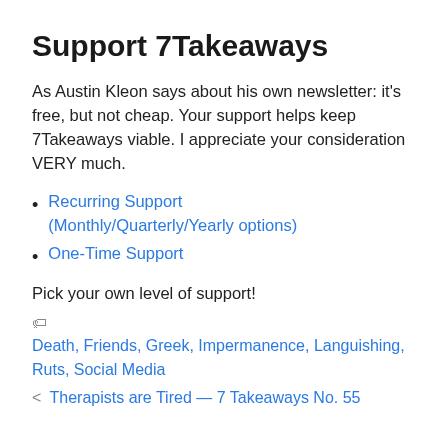Support 7Takeaways
As Austin Kleon says about his own newsletter: it’s free, but not cheap. Your support helps keep 7Takeaways viable. I appreciate your consideration VERY much.
Recurring Support (Monthly/Quarterly/Yearly options)
One-Time Support
Pick your own level of support!
🏷 Death, Friends, Greek, Impermanence, Languishing, Ruts, Social Media
< Therapists are Tired — 7 Takeaways No. 55